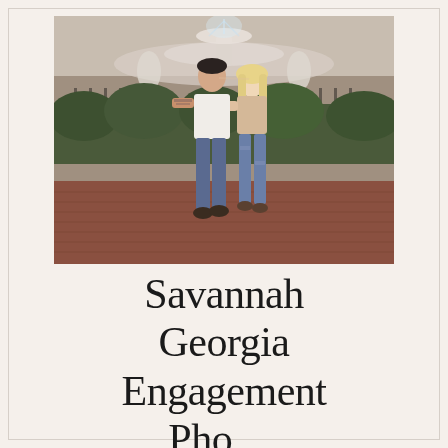[Figure (photo): A couple standing close together in front of a white ornate fountain in a park. The man wears a white t-shirt and jeans; the woman wears a light top and ripped jeans. They appear to be sharing an intimate moment. The background shows green hedges and a wrought iron fence. The ground is brick-red.]
Savannah Georgia Engagement Photos
February 22,